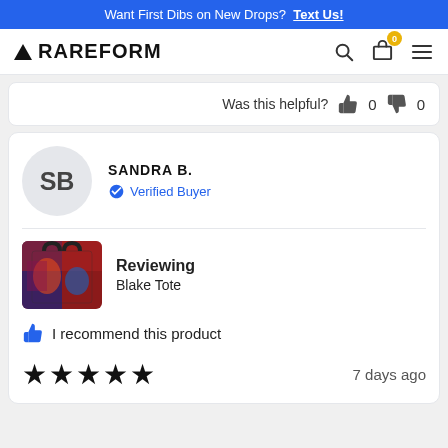Want First Dibs on New Drops? Text Us!
[Figure (logo): RAREFORM logo with triangle icon and navigation icons (search, cart with 0 badge, hamburger menu)]
Was this helpful? 👍 0 👎 0
SANDRA B. Verified Buyer
Reviewing Blake Tote
I recommend this product
★★★★★ 7 days ago